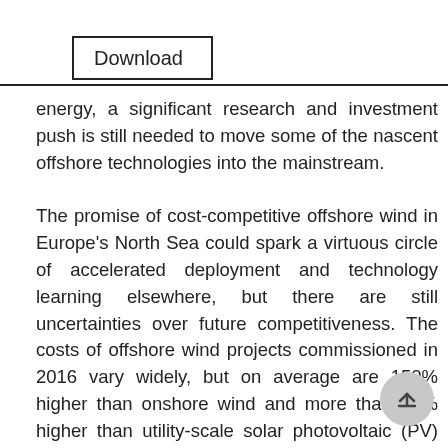Download
energy, a significant research and investment push is still needed to move some of the nascent offshore technologies into the mainstream.

The promise of cost-competitive offshore wind in Europe's North Sea could spark a virtuous circle of accelerated deployment and technology learning elsewhere, but there are still uncertainties over future competitiveness. The costs of offshore wind projects commissioned in 2016 vary widely, but on average are 150% higher than onshore wind and more than 50% higher than utility-scale solar photovoltaic (PV) projects. However, the results of recent auctions in Europe suggests a step change in costs with some new projects scheduled to enter into